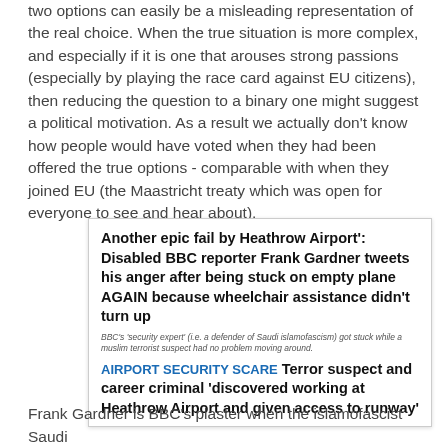two options can easily be a misleading representation of the real choice. When the true situation is more complex, and especially if it is one that arouses strong passions (especially by playing the race card against EU citizens), then reducing the question to a binary one might suggest a political motivation. As a result we actually don't know how people would have voted when they had been offered the true options - comparable with when they joined EU (the Maastricht treaty which was open for everyone to see and hear about).
[Figure (screenshot): News article screenshot showing two headlines: 'Another epic fail by Heathrow Airport': Disabled BBC reporter Frank Gardner tweets his anger after being stuck on empty plane AGAIN because wheelchair assistance didn't turn up. Below a subtext: BBC's 'security expert' (i.e. a defender of Saudi islamofascism) got stuck while a muslim terrorist suspect had no problem moving around. Then: AIRPORT SECURITY SCARE Terror suspect and career criminal 'discovered working at Heathrow Airport and given access to runway']
Frank Gardner is BBC's plaster when the islamofascist Saudi